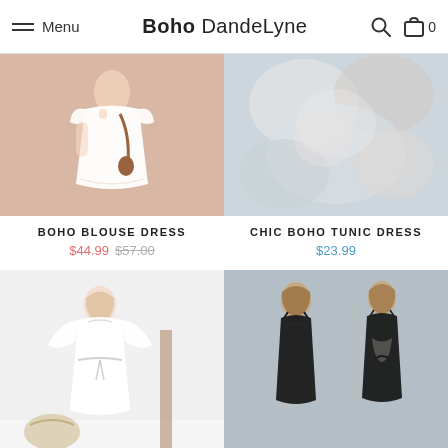Menu | Boho DandeLyne
[Figure (photo): White boho blouse dress on model with peach/beige background, model wearing brown crossbody bag]
[Figure (photo): Chic boho tunic dress, blurred/out-of-focus product photo]
BOHO BLOUSE DRESS
$44.99 $57.00
CHIC BOHO TUNIC DRESS
$23.99
[Figure (photo): White lace boho dress on model with white/grey background]
[Figure (photo): Black boho dress shown front and back on two models with outdoor background]